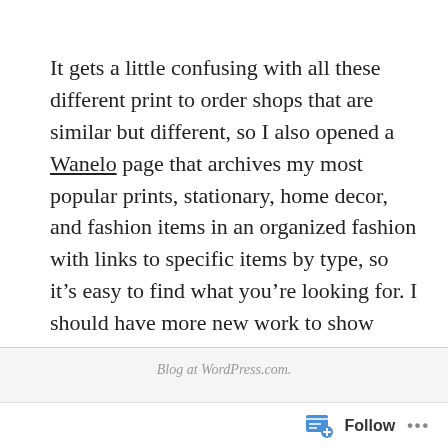It gets a little confusing with all these different print to order shops that are similar but different, so I also opened a Wanelo page that archives my most popular prints, stationary, home decor, and fashion items in an organized fashion with links to specific items by type, so it's easy to find what you're looking for. I should have more new work to show very soon, later friends!
Blog at WordPress.com.